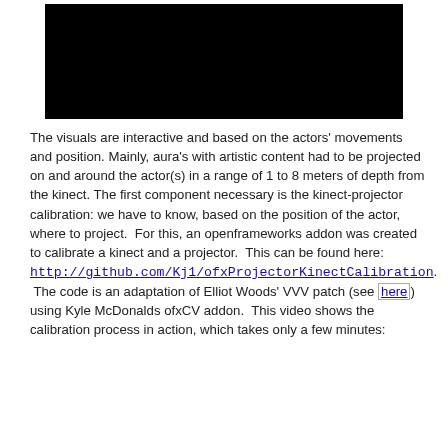[Figure (photo): Black rectangle representing a video frame or blank image area]
The visuals are interactive and based on the actors' movements and position. Mainly, aura's with artistic content had to be projected on and around the actor(s) in a range of 1 to 8 meters of depth from the kinect. The first component necessary is the kinect-projector calibration: we have to know, based on the position of the actor, where to project.  For this, an openframeworks addon was created to calibrate a kinect and a projector.  This can be found here: http://github.com/Kj1/ofxProjectorKinectCalibration.  The code is an adaptation of Elliot Woods' VVV patch (see here) using Kyle McDonalds ofxCV addon.  This video shows the calibration process in action, which takes only a few minutes: